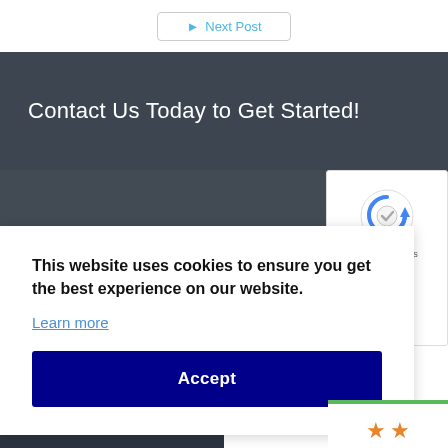[Figure (screenshot): Next Post navigation button with right arrow, styled with a border and light blue text]
Contact Us Today to Get Started!
This website uses cookies to ensure you get the best experience on our website.
Learn more
Accept
[Figure (screenshot): reCAPTCHA widget showing the reCAPTCHA logo with Privacy and Terms links]
[Figure (screenshot): Review widget showing two orange stars and the text 'ews' (partial 'reviews')]